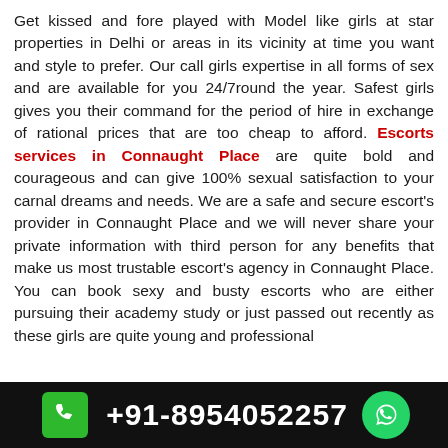Get kissed and fore played with Model like girls at star properties in Delhi or areas in its vicinity at time you want and style to prefer. Our call girls expertise in all forms of sex and are available for you 24/7round the year. Safest girls gives you their command for the period of hire in exchange of rational prices that are too cheap to afford. Escorts services in Connaught Place are quite bold and courageous and can give 100% sexual satisfaction to your carnal dreams and needs. We are a safe and secure escort's provider in Connaught Place and we will never share your private information with third person for any benefits that make us most trustable escort's agency in Connaught Place. You can book sexy and busty escorts who are either pursuing their academy study or just passed out recently as these girls are quite young and professional
+91-8954052257